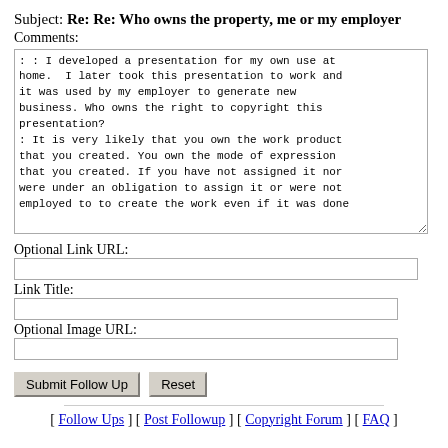Subject: Re: Re: Who owns the property, me or my employer
Comments:
: : I developed a presentation for my own use at home.  I later took this presentation to work and it was used by my employer to generate new business. Who owns the right to copyright this presentation?
: It is very likely that you own the work product that you created. You own the mode of expression that you created. If you have not assigned it nor were under an obligation to assign it or were not employed to to create the work even if it was done
Optional Link URL:
Link Title:
Optional Image URL:
[ Follow Ups ] [ Post Followup ] [ Copyright Forum ] [ FAQ ]